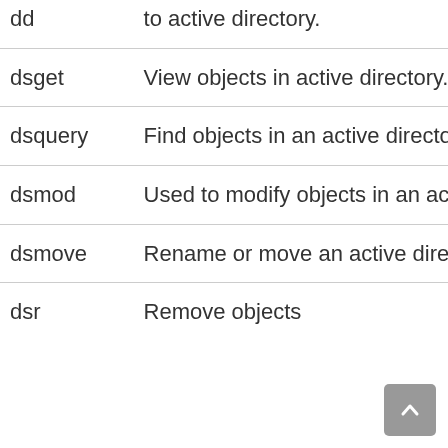| Command | Description |
| --- | --- |
| dd | to active directory. |
| dsget | View objects in active directory. |
| dsquery | Find objects in an active directory. |
| dsmod | Used to modify objects in an active directory. |
| dsmove | Rename or move an active directory object. |
| dsr | Remove objects |